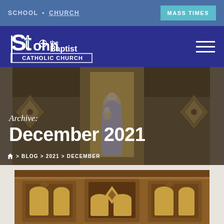SCHOOL • CHURCH   MASS TIMES
[Figure (logo): St. John the Baptist Catholic Church logo — white text on dark navy background]
[Figure (photo): Church interior hero banner showing a statue of Mary holding the infant Jesus, flanked by ornate wooden panels with diamond-shaped decorative elements]
Archive: December 2021
🏠 > BLOG > 2021 > DECEMBER
[Figure (photo): Bottom portion of church interior showing ornate carved wooden confessional or altar piece with arched golden panels]